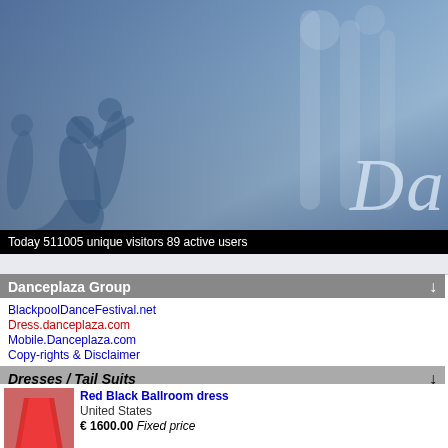[Figure (photo): Website header banner with blue-tinted ballroom dancing couple silhouettes and 'Da' logo text in italic script on right side]
Today 511005 unique visitors 89 active users
Danceplaza Group
BlackpoolDanceFestival.net
Dress.danceplaza.com
Mobile.Danceplaza.com
Copy-rights & Disclaimer
Dresses / Tail Suits
Red Black Ballroom dress - United States - € 1600.00 Fixed price
Velvet Tiger Ballroom Dance Dress - Slovakia - € 650.00 Negotiable
ATELIER ELLA BALLROOM DRESS FOR SALE!!!! - Poland - € 1750.00 Negotiable
Great Latin Dress - United States - € 1000.00 Negotiable
Bright and Elegant dress!! - Russia
Place your
| Field | Value |
| --- | --- |
| Country | : USA |
| Category | : Clubs/S |
| Site name | : Magic D |
| URL | : http://w |
| Name webmaster | : - |
| E-mail webmaster | : - |
| Description | : Magic D notch in professi Wienc o dancers private t often ha |